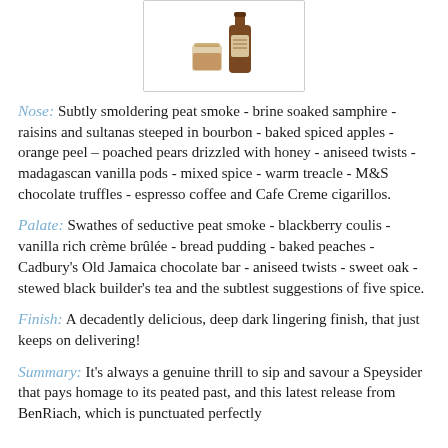[Figure (photo): Photo of a whisky bottle with glass, inside a bordered box]
Nose: Subtly smoldering peat smoke - brine soaked samphire - raisins and sultanas steeped in bourbon - baked spiced apples - orange peel – poached pears drizzled with honey - aniseed twists - madagascan vanilla pods - mixed spice - warm treacle - M&S chocolate truffles - espresso coffee and Cafe Creme cigarillos.
Palate: Swathes of seductive peat smoke - blackberry coulis - vanilla rich crème brûlée - bread pudding - baked peaches - Cadbury's Old Jamaica chocolate bar - aniseed twists - sweet oak - stewed black builder's tea and the subtlest suggestions of five spice.
Finish: A decadently delicious, deep dark lingering finish, that just keeps on delivering!
Summary: It's always a genuine thrill to sip and savour a Speysider that pays homage to its peated past, and this latest release from BenRiach, which is punctuated perfectly